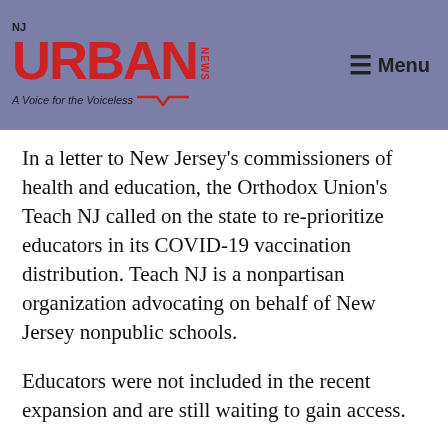[Figure (logo): NJ Urban News logo with red URBAN text and tagline 'A Voice for the Voiceless' on a purple/blue-gray header bar with a Menu icon on the right]
In a letter to New Jersey's commissioners of health and education, the Orthodox Union's Teach NJ called on the state to re-prioritize educators in its COVID-19 vaccination distribution. Teach NJ is a nonpartisan organization advocating on behalf of New Jersey nonpublic schools.
Educators were not included in the recent expansion and are still waiting to gain access.
“In-person instruction is critical for the